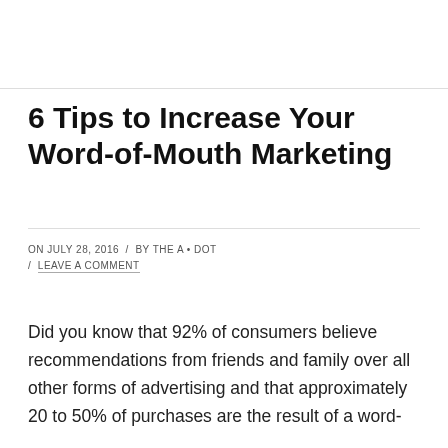6 Tips to Increase Your Word-of-Mouth Marketing
ON JULY 28, 2016 / BY THE A • DOT / LEAVE A COMMENT
Did you know that 92% of consumers believe recommendations from friends and family over all other forms of advertising and that approximately 20 to 50% of purchases are the result of a word-